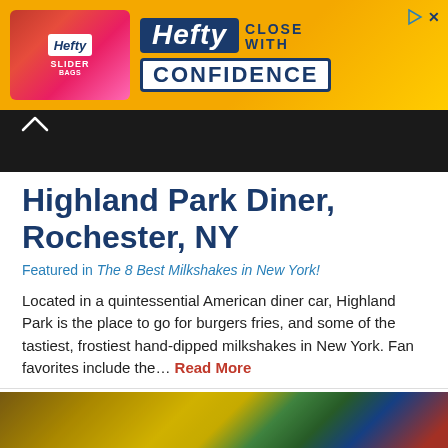[Figure (photo): Hefty Slider Bags advertisement banner with yellow/orange gradient background, Hefty logo on left over pink/red bag packaging, and 'Hefty Close With Confidence' text on right]
[Figure (photo): Dark background photo strip showing blurred diner interior, with a chevron/up-arrow icon on the left]
Highland Park Diner, Rochester, NY
Featured in The 8 Best Milkshakes in New York!
Located in a quintessential American diner car, Highland Park is the place to go for burgers fries, and some of the tastiest, frostiest hand-dipped milkshakes in New York. Fan favorites include the... Read More
[Figure (photo): Close-up photo of what appears to be a cocktail or milkshake with a lime slice garnish, yellow and blue blurred background]